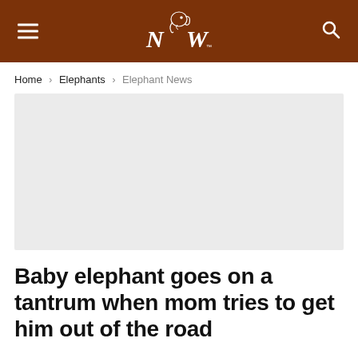NW (logo with elephant illustration)
Home > Elephants > Elephant News
[Figure (photo): Large light grey placeholder image for an article about a baby elephant]
Baby elephant goes on a tantrum when mom tries to get him out of the road